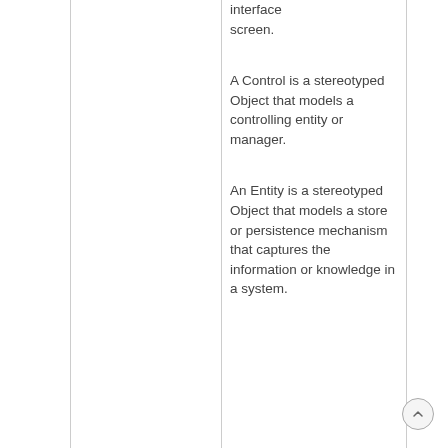interface screen.
A Control is a stereotyped Object that models a controlling entity or manager.
An Entity is a stereotyped Object that models a store or persistence mechanism that captures the information or knowledge in a system.